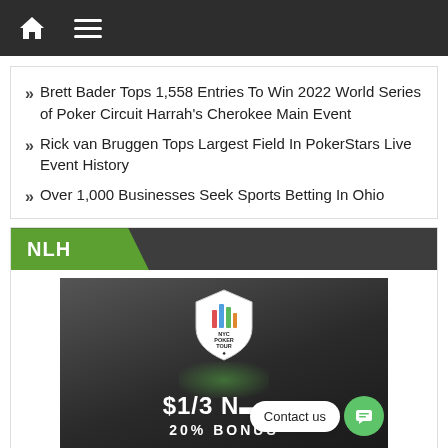Navigation bar with home and menu icons
Brett Bader Tops 1,558 Entries To Win 2022 World Series of Poker Circuit Harrah's Cherokee Main Event
Rick van Bruggen Tops Largest Field In PokerStars Live Event History
Over 1,000 Businesses Seek Sports Betting In Ohio
NLH
[Figure (photo): NYC Poker Tour banner showing shield logo with city skyline graphic, '$1/3 N[LH]' text and '20% BONUS' subtitle on dark background, with a 'Contact us' chat bubble overlay in bottom right]